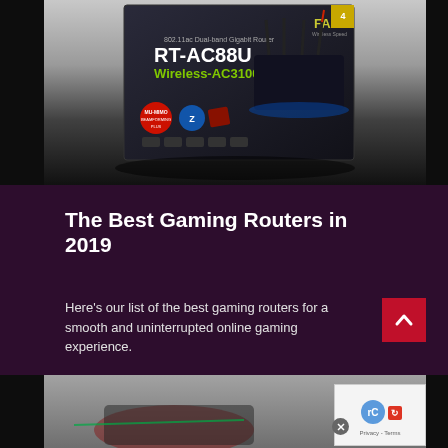[Figure (photo): ASUS RT-AC88U Wireless-AC3100 802.11ac Dual-band Gigabit Router product box on a dark surface. The box shows the router image with four antennas and various feature badges. Text on box reads: FAST, 802.11ac Dual-band Gigabit Router, RT-AC88U, Wireless-AC3100.]
The Best Gaming Routers in 2019
Here's our list of the best gaming routers for a smooth and uninterrupted online gaming experience.
[Figure (photo): Partial view of another product or gaming-related image at the bottom of the page, partially obscured. A reCAPTCHA widget overlay appears in the bottom right corner.]